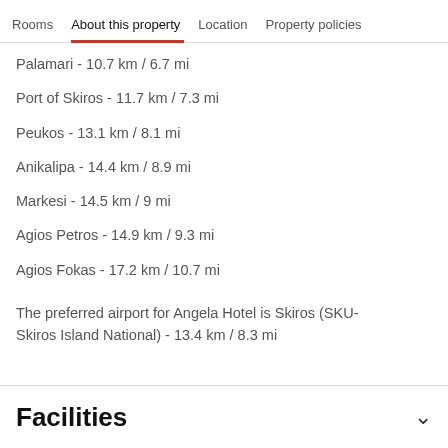Rooms  About this property  Location  Property policies
Palamari - 10.7 km / 6.7 mi
Port of Skiros - 11.7 km / 7.3 mi
Peukos - 13.1 km / 8.1 mi
Anikalipa - 14.4 km / 8.9 mi
Markesi - 14.5 km / 9 mi
Agios Petros - 14.9 km / 9.3 mi
Agios Fokas - 17.2 km / 10.7 mi
The preferred airport for Angela Hotel is Skiros (SKU-Skiros Island National) - 13.4 km / 8.3 mi
Facilities